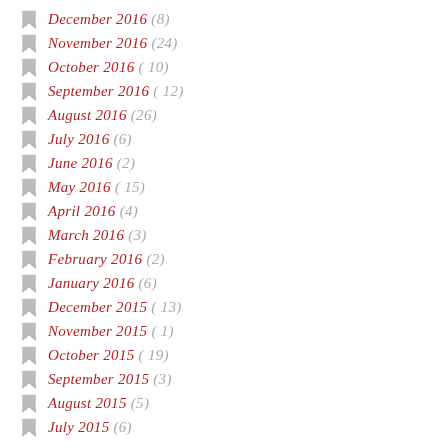December 2016 (8)
November 2016 (24)
October 2016 (10)
September 2016 (12)
August 2016 (26)
July 2016 (6)
June 2016 (2)
May 2016 (15)
April 2016 (4)
March 2016 (3)
February 2016 (2)
January 2016 (6)
December 2015 (13)
November 2015 (1)
October 2015 (19)
September 2015 (3)
August 2015 (5)
July 2015 (6)